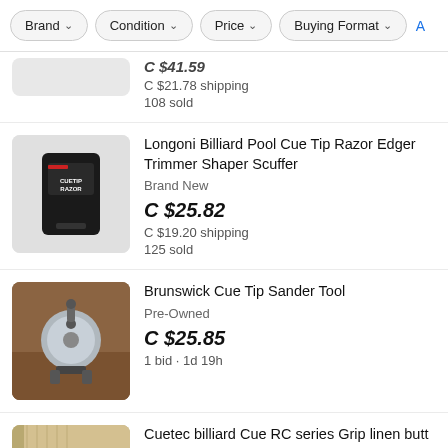Brand  Condition  Price  Buying Format  A
C $21.78 shipping
108 sold
[Figure (photo): Black Longoni Cuetip Razor billiard tool device]
Longoni Billiard Pool Cue Tip Razor Edger Trimmer Shaper Scuffer
Brand New
C $25.82
C $19.20 shipping
125 sold
[Figure (photo): Brunswick Cue Tip Sander Tool - circular metal sanding tool on wooden surface]
Brunswick Cue Tip Sander Tool
Pre-Owned
C $25.85
1 bid · 1d 19h
[Figure (photo): Cuetec billiard cue partial image]
Cuetec billiard Cue RC series Grip linen butt 408g 3/8-14 mountain
Pre-Owned